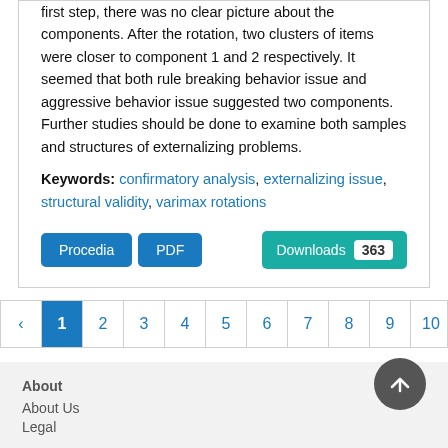first step, there was no clear picture about the components. After the rotation, two clusters of items were closer to component 1 and 2 respectively. It seemed that both rule breaking behavior issue and aggressive behavior issue suggested two components. Further studies should be done to examine both samples and structures of externalizing problems.
Keywords: confirmatory analysis, externalizing issue, structural validity, varimax rotations
Procedia  PDF  Downloads 363
‹  1  2  3  4  5  6  7  8  9  10  ...  2
About
About Us
Legal